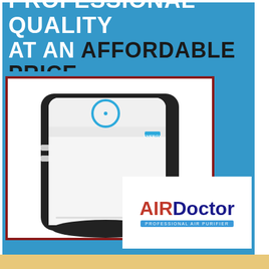PROFESSIONAL QUALITY AT AN AFFORDABLE PRICE
[Figure (photo): AirDoctor air purifier unit, white with black trim, shown against blue background with red border frame. The AirDoctor logo is shown separately in a white box in the lower right.]